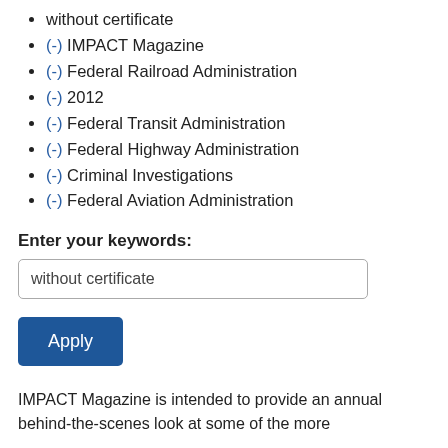without certificate
(-) IMPACT Magazine
(-) Federal Railroad Administration
(-) 2012
(-) Federal Transit Administration
(-) Federal Highway Administration
(-) Criminal Investigations
(-) Federal Aviation Administration
Enter your keywords:
without certificate
Apply
IMPACT Magazine is intended to provide an annual behind-the-scenes look at some of the more significant investigations conducted by DOT OIG...